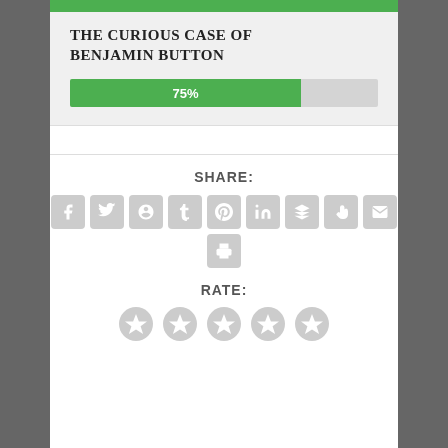THE CURIOUS CASE OF BENJAMIN BUTTON
[Figure (infographic): Progress bar showing 75% completion]
SHARE:
[Figure (infographic): Social share icons: Facebook, Twitter, Google+, Tumblr, Pinterest, LinkedIn, Buffer, StumbleUpon, Email, Print]
RATE:
[Figure (infographic): Five star rating circles, all unselected (gray)]